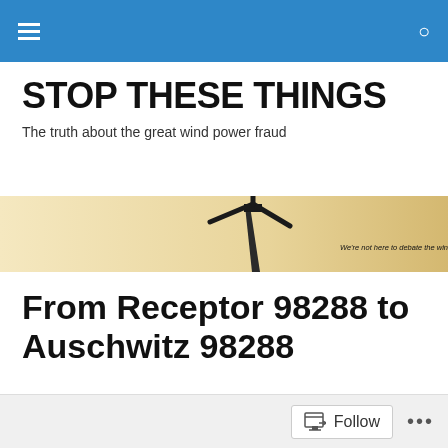Navigation bar with hamburger menu and search icon
STOP THESE THINGS
The truth about the great wind power fraud
[Figure (photo): Banner image showing a wind turbine silhouette against a warm sky with text overlay: "We're not here to debate the wind industry, we're here to DESTROY IT!"]
From Receptor 98288 to Auschwitz 98288
[Figure (photo): Teal/cyan banner graphic with bold dark text reading 'RECEPTOR 98288']
Follow ...